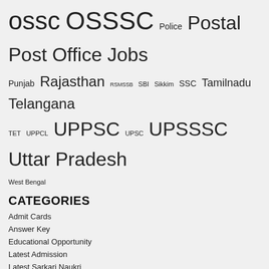ossc OSSSC Police Postal Post Office Jobs Punjab Rajasthan RSMSSB SBI Sikkim SSC Tamilnadu Telangana TET UPPCL UPPSC UPSC UPSSSC Uttar Pradesh West Bengal
CATEGORIES
Admit Cards
Answer Key
Educational Opportunity
Latest Admission
Latest Sarkari Naukri
Latest Sarkari Result
Question Papers
Syllabus